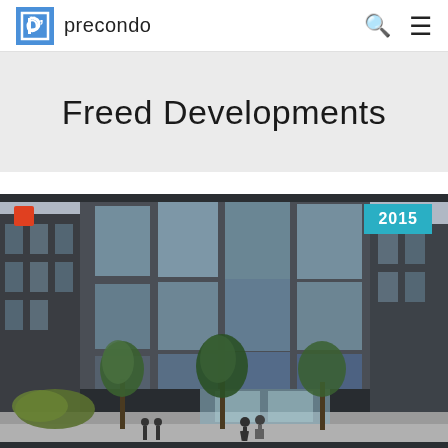precondo
Freed Developments
[Figure (photo): Architectural rendering of a modern multi-story condominium building with glass facades and trees along the street. A red square badge appears top-left and a teal '2015' badge appears top-right.]